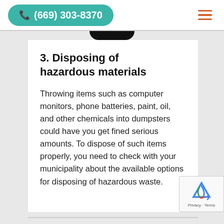(669) 303-8370
3. Disposing of hazardous materials
Throwing items such as computer monitors, phone batteries, paint, oil, and other chemicals into dumpsters could have you get fined serious amounts. To dispose of such items properly, you need to check with your municipality about the available options for disposing of hazardous waste.